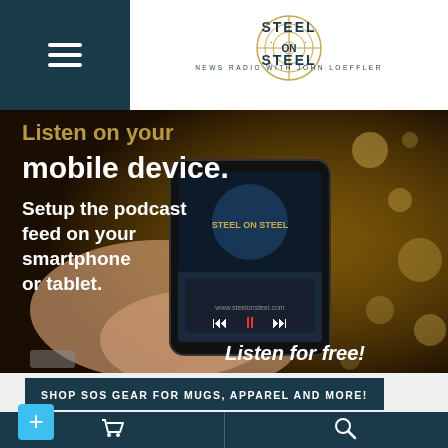Steel on Steel — News Radio with John Loeffler
[Figure (photo): Advertisement image showing a hand holding a smartphone displaying the Steel on Steel podcast app. Text overlaid reads: 'Listen on your mobile device. Setup the podcast feed on your smartphone or tablet. Listen for free!']
SHOP SOS GEAR FOR MUGS, APPAREL AND MORE!
Navigation bar with plus, cart, and search icons